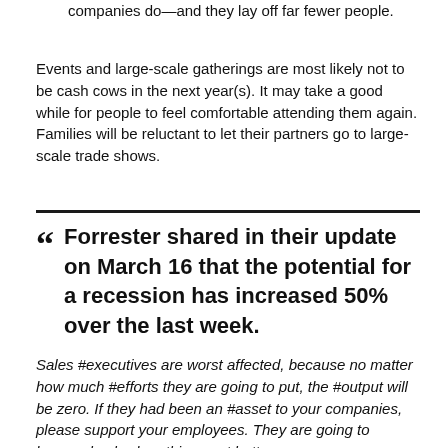enterprises cut staff — whereas 80% of prevention-focused companies do—and they lay off far fewer people.
Events and large-scale gatherings are most likely not to be cash cows in the next year(s). It may take a good while for people to feel comfortable attending them again. Families will be reluctant to let their partners go to large-scale trade shows.
Forrester shared in their update on March 16 that the potential for a recession has increased 50% over the last week.
Sales #executives are worst affected, because no matter how much #efforts they are going to put, the #output will be zero. If they had been an #asset to your companies, please support your employees. They are going to bounce back when things get better.